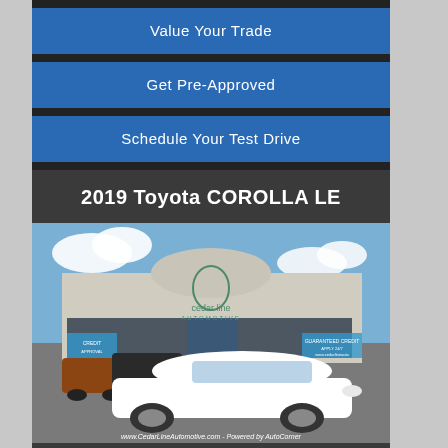Value Your Trade
Get Pre-Approved
Schedule Your Test Drive
2019 Toyota COROLLA LE
[Figure (photo): White 2019 Toyota Corolla LE parked in front of Cedar Line Automotive dealership building. URL watermark: www.CedarLineAutomotive.com - Powered by AutoCorner]
Stock #: KP873569   62,317 miles